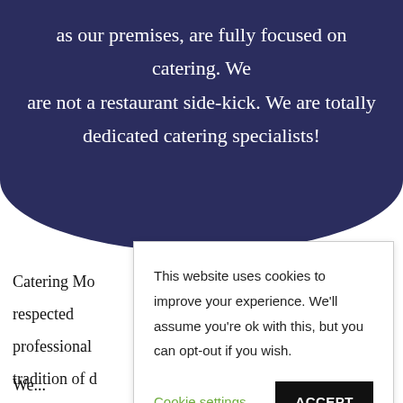as our premises, are fully focused on catering. We are not a restaurant side-kick. We are totally dedicated catering specialists!
Catering Mo... respected ... professional ... tradition of ... that are cust...
This website uses cookies to improve your experience. We'll assume you're ok with this, but you can opt-out if you wish.
Cookie settings
ACCEPT
We...